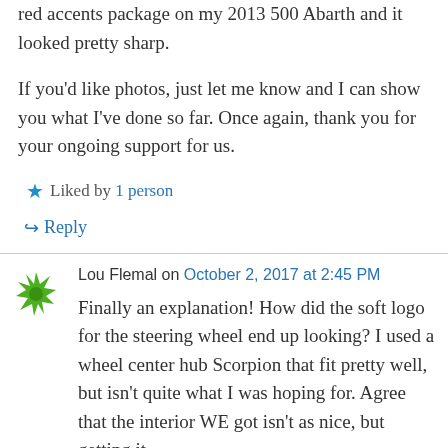red accents package on my 2013 500 Abarth and it looked pretty sharp.
If you'd like photos, just let me know and I can show you what I've done so far. Once again, thank you for your ongoing support for us.
★ Liked by 1 person
↳ Reply
Lou Flemal on October 2, 2017 at 2:45 PM
Finally an explanation! How did the soft logo for the steering wheel end up looking? I used a wheel center hub Scorpion that fit pretty well, but isn't quite what I was hoping for. Agree that the interior WE got isn't as nice, but getting it